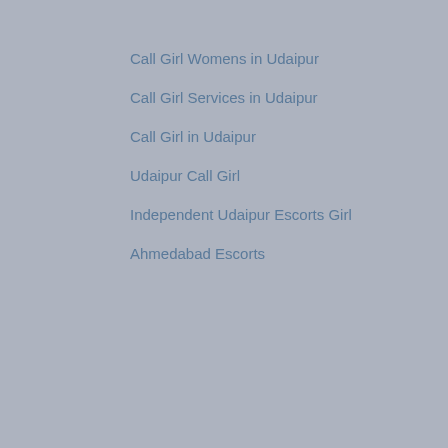Call Girl Womens in Udaipur
Call Girl Services in Udaipur
Call Girl in Udaipur
Udaipur Call Girl
Independent Udaipur Escorts Girl
Ahmedabad Escorts
Reply
Sonam Patel 27 March 2019 at 06:41
Ahmedabad Escort
Ahmedabad Escorts Service